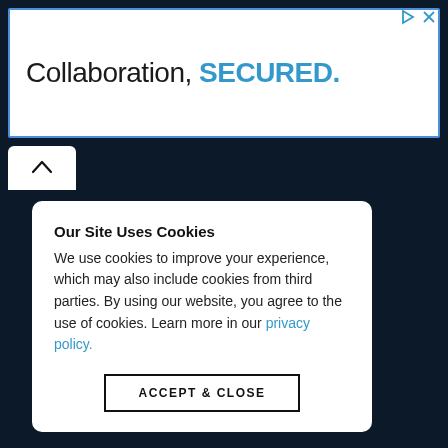[Figure (screenshot): Advertisement banner with text 'Collaboration, SECURED.' with blue border, and ad control icons (play triangle and X) in top right corner.]
[Figure (screenshot): Scroll-up tab (white rounded rectangle with chevron up arrow) on dark navy background.]
Our Site Uses Cookies
We use cookies to improve your experience, which may also include cookies from third parties. By using our website, you agree to the use of cookies. Learn more in our privacy policy.
ACCEPT & CLOSE